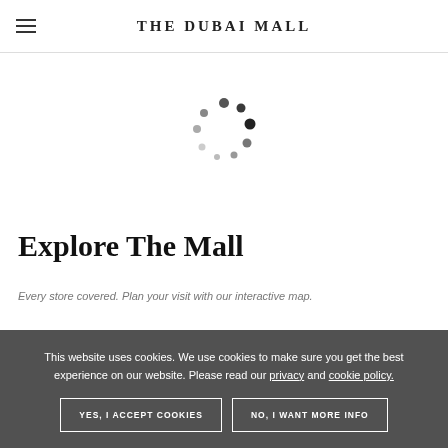THE DUBAI MALL
[Figure (other): Animated loading spinner made of dots arranged in a circle, varying from dark to light gray]
Explore The Mall
Every store covered. Plan your visit with our interactive map.
This website uses cookies. We use cookies to make sure you get the best experience on our website. Please read our privacy and cookie policy.
YES, I ACCEPT COOKIES
NO, I WANT MORE INFO